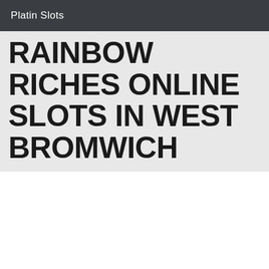Platin Slots
RAINBOW RICHES ONLINE SLOTS IN WEST BROMWICH
[Figure (illustration): Fishin' Frenzy slot game logo on a blue underwater background with orange/red stylized text reading FISHIN' FRENZY and a leaping orange fish with a TM mark]